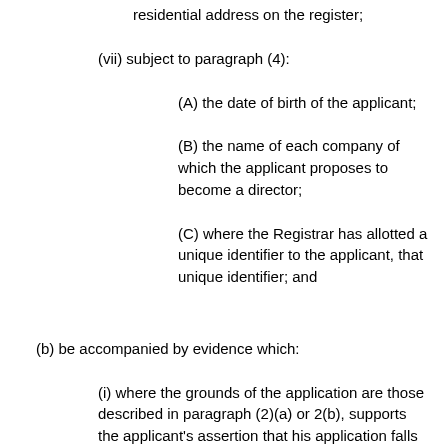residential address on the register;
(vii) subject to paragraph (4):
(A) the date of birth of the applicant;
(B) the name of each company of which the applicant proposes to become a director;
(C) where the Registrar has allotted a unique identifier to the applicant, that unique identifier; and
(b) be accompanied by evidence which:
(i) where the grounds of the application are those described in paragraph (2)(a) or 2(b), supports the applicant's assertion that his application falls within the